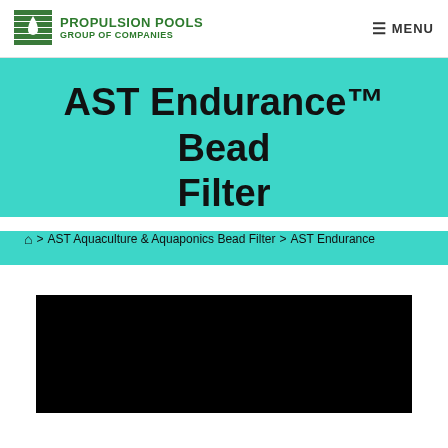PROPULSION POOLS GROUP OF COMPANIES | MENU
AST Endurance™ Bead Filter
Home > AST Aquaculture & Aquaponics Bead Filter > AST Endurance
[Figure (photo): Black product image area for AST Endurance Bead Filter product photo]